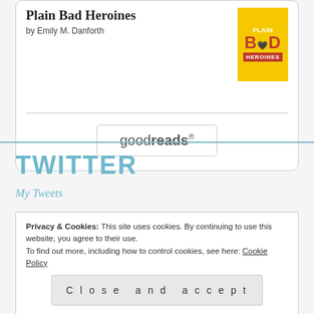Plain Bad Heroines
by Emily M. Danforth
[Figure (illustration): Book cover for Plain Bad Heroines – yellow background with red and white text]
[Figure (logo): goodreads button/logo in a rounded rectangle border]
TWITTER
My Tweets
Privacy & Cookies: This site uses cookies. By continuing to use this website, you agree to their use.
To find out more, including how to control cookies, see here: Cookie Policy
Close and accept